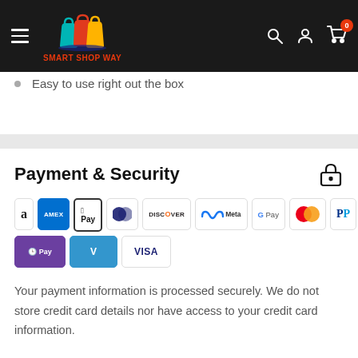[Figure (logo): Smart Shop Way logo with shopping bags and brand name in red]
Easy to use right out the box
Payment & Security
[Figure (infographic): Payment method badges: Amazon, AMEX, Apple Pay, Diners, Discover, Meta, Google Pay, Mastercard, PayPal, OPay, Venmo, Visa]
Your payment information is processed securely. We do not store credit card details nor have access to your credit card information.